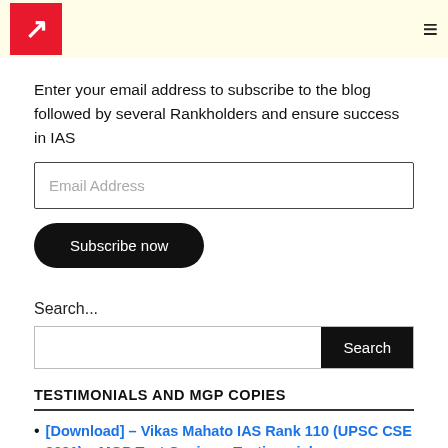Logo and navigation
Enter your email address to subscribe to the blog followed by several Rankholders and ensure success in IAS
Email Address (input placeholder)
Subscribe now
Search...
Search (button)
TESTIMONIALS AND MGP COPIES
[Download] – Vikas Mahato IAS Rank 110 (UPSC CSE 2021) – MGP Test Copies + Testimonial